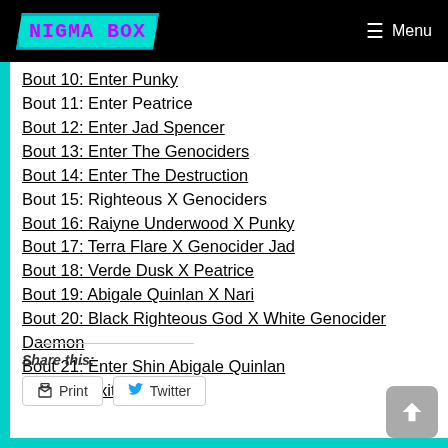NIGMA BOX | Menu
Bout 10: Enter Punky
Bout 11: Enter Peatrice
Bout 12: Enter Jad Spencer
Bout 13: Enter The Genociders
Bout 14: Enter The Destruction
Bout 15: Righteous X Genociders
Bout 16: Raiyne Underwood X Punky
Bout 17: Terra Flare X Genocider Jad
Bout 18: Verde Dusk X Peatrice
Bout 19: Abigale Quinlan X Nari
Bout 20: Black Righteous God X White Genocider Daemon
Bout 21: Enter Shin Abigale Quinlan
Bout 22: Exit The 2-2-2-2
Share this:
Print  Twitter